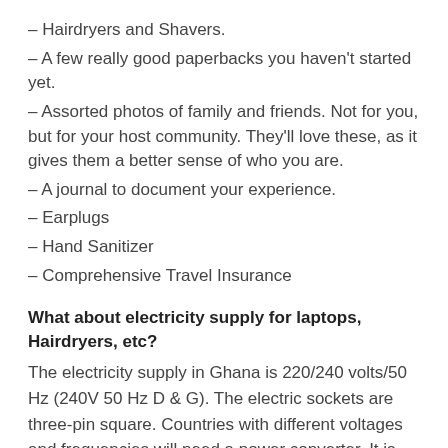– Hairdryers and Shavers.
– A few really good paperbacks you haven't started yet.
– Assorted photos of family and friends. Not for you, but for your host community. They'll love these, as it gives them a better sense of who you are.
– A journal to document your experience.
– Earplugs
– Hand Sanitizer
– Comprehensive Travel Insurance
What about electricity supply for laptops, Hairdryers, etc?
The electricity supply in Ghana is 220/240 volts/50 Hz (240V 50 Hz D & G). The electric sockets are three-pin square. Countries with different voltages and frequencies will need a power converter. It is important to check this as incorrect use may damage your equipment. Check your electrical equipment to see if you will need a power converter and/or a plug adapter. Volunteers may purchase power converters in their home countries or here in Ghana. For plug